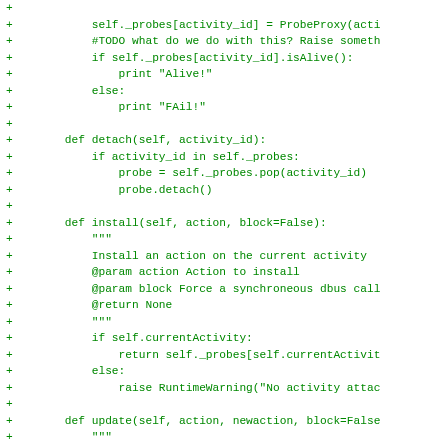[Figure (screenshot): A code diff snippet showing Python code additions (green '+' lines) with methods detach, install, and update for a probe/activity manager class.]